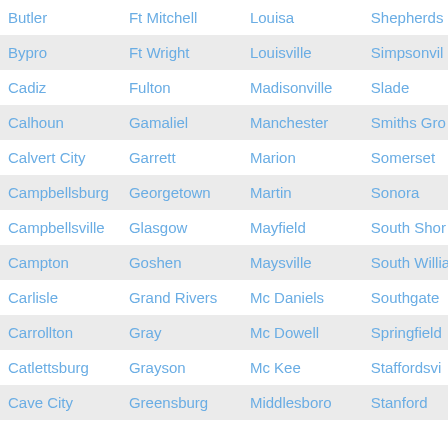| Butler | Ft Mitchell | Louisa | Shepherds… |
| Bypro | Ft Wright | Louisville | Simpsonvil… |
| Cadiz | Fulton | Madisonville | Slade |
| Calhoun | Gamaliel | Manchester | Smiths Gro… |
| Calvert City | Garrett | Marion | Somerset |
| Campbellsburg | Georgetown | Martin | Sonora |
| Campbellsville | Glasgow | Mayfield | South Sho… |
| Campton | Goshen | Maysville | South Williamson… |
| Carlisle | Grand Rivers | Mc Daniels | Southgate |
| Carrollton | Gray | Mc Dowell | Springfield |
| Catlettsburg | Grayson | Mc Kee | Staffordsvi… |
| Cave City | Greensburg | Middlesboro | Stanford |